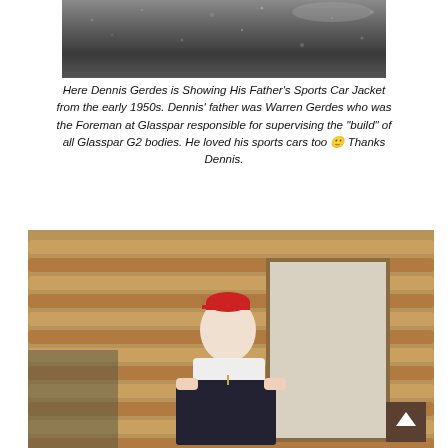[Figure (photo): Partial photo of what appears to be asphalt or dark textured surface, cropped at top of page]
Here Dennis Gerdes is Showing His Father's Sports Car Jacket from the early 1950s. Dennis' father was Warren Gerdes who was the Foreman at Glasspar responsible for supervising the "build" of all Glasspar G2 bodies. He loved his sports cars too 😊 Thanks Dennis.
[Figure (photo): Photo of a man wearing a red cap and glasses, standing in front of a log cabin structure, holding up a dark jacket on a hanger. A back-to-top arrow button is visible in the lower right corner.]